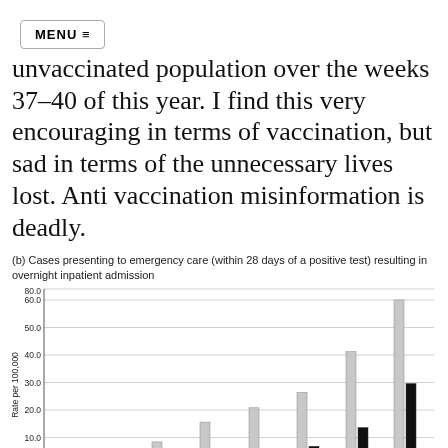MENU ≡
unvaccinated population over the weeks 37–40 of this year. I find this very encouraging in terms of vaccination, but sad in terms of the unnecessary lives lost. Anti vaccination misinformation is deadly.
(b) Cases presenting to emergency care (within 28 days of a positive test) resulting in overnight inpatient admission
[Figure (grouped-bar-chart): ]